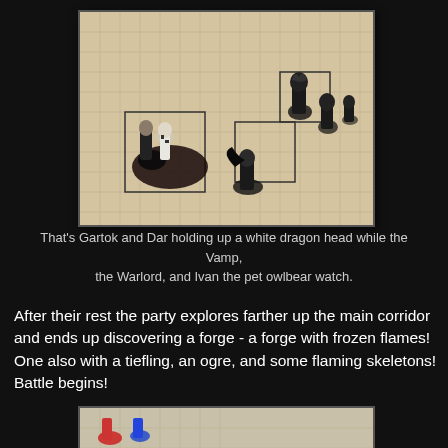[Figure (photo): Tabletop RPG miniatures on a grid map — showing fantasy character figures holding a white dragon head, with vampire, warlord, and owlbear pet figures watching]
That's Gartok and Dar holding up a white dragon head while the Vamp, the Warlord, and Ivan the pet owlbear watch.
After their rest the party explores farther up the main corridor and ends up discovering a forge - a forge with frozen flames! One also with a tiefling, an ogre, and some flaming skeletons! Battle begins!
[Figure (photo): Partial view of tabletop RPG miniatures on a grid map, showing colorful figures at the bottom of the page]